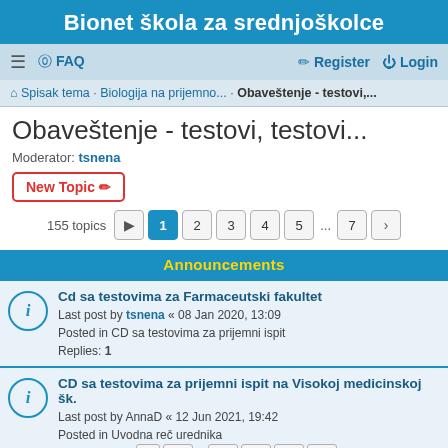Bionet škola za srednjoškolce
≡  FAQ    Register  Login
Spisak tema · Biologija na prijemno... · Obaveštenje - testovi,...
Obaveštenje - testovi, testovi...
Moderator: tsnena
New Topic
155 topics  1 2 3 4 5 ... 7 >
Announcements
Cd sa testovima za Farmaceutski fakultet
Last post by tsnena « 08 Jan 2020, 13:09
Posted in CD sa testovima za prijemni ispit
Replies: 1
CD sa testovima za prijemni ispit na Visokoj medicinskoj šk.
Last post by AnnaD « 12 Jun 2021, 19:42
Posted in Uvodna reč urednika
Replies: 458   1 ... 43 44 45 46
CD sa testovima za prijemni na Biološkom fakultetu
Last post by tsnena « 22 Apr 2020, 13:39
Posted in Uvodna reč urednika
Replies: 320